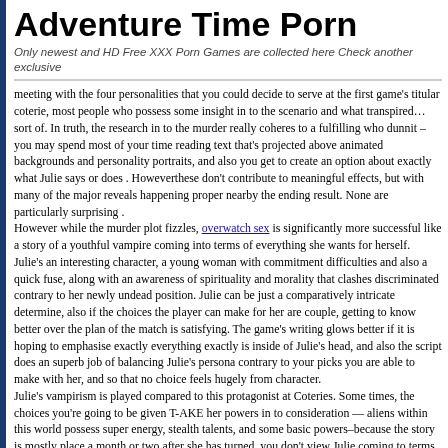Adventure Time Porn
Only newest and HD Free XXX Porn Games are collected here Check another exclusive
meeting with the four personalities that you could decide to serve at the first game's titular coterie, most people who possess some insight in to the scenario and what transpired… sort of. In truth, the research in to the murder really coheres to a fulfilling who dunnit – you may spend most of your time reading text that's projected above animated backgrounds and personality portraits, and also you get to create an option about exactly what Julie says or does . Howeverthese don't contribute to meaningful effects, but with many of the major reveals happening proper nearby the ending result. None are particularly surprising . However while the murder plot fizzles, overwatch sex is significantly more successful like a story of a youthful vampire coming into terms of everything she wants for herself. Julie's an interesting character, a young woman with commitment difficulties and also a quick fuse, along with an awareness of spirituality and morality that clashes discriminated contrary to her newly undead position. Julie can be just a comparatively intricate determine, also if the choices the player can make for her are couple, getting to know better over the plan of the match is satisfying. The game's writing glows better if it is hoping to emphasise exactly everything exactly is inside of Julie's head, and also the script does an superb job of balancing Julie's persona contrary to your picks you are able to make with her, and so that no choice feels hugely from character. Julie's vampirism is played compared to this protagonist at Coteries. Some times, the choices you're going to be given T-AKE her powers in to consideration — aliens within this world possess super energy, stealth talents, and some basic powers–because the story is mostly place a month or two after she has turned, you don't view Julie coming to terms with her abilities in the same manner the very first match's protagonist failed. Her powers don't impact gameplay at a meaningful manner frequently, possibly. You can make your choice to feed periodically, but there isn't any longer a mechanic–in the very first match, a few options are locked off in the event that you failed to keep your desire for blood – but